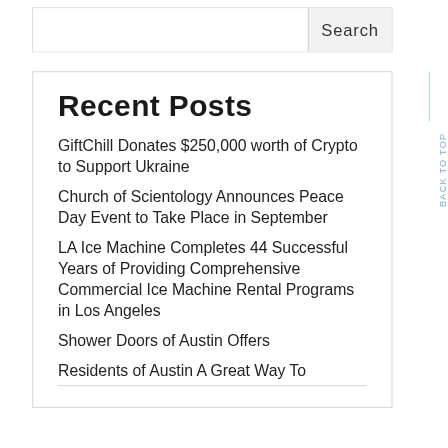Search
Recent Posts
GiftChill Donates $250,000 worth of Crypto to Support Ukraine
Church of Scientology Announces Peace Day Event to Take Place in September
LA Ice Machine Completes 44 Successful Years of Providing Comprehensive Commercial Ice Machine Rental Programs in Los Angeles
Shower Doors of Austin Offers
Residents of Austin A Great Way To